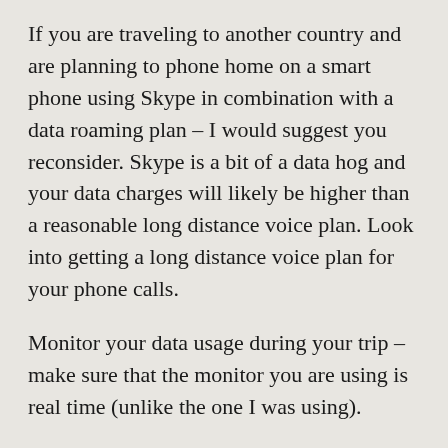If you are traveling to another country and are planning to phone home on a smart phone using Skype in combination with a data roaming plan – I would suggest you reconsider.  Skype is a bit of a data hog and your data charges will likely be higher than a reasonable long distance voice plan.  Look into getting a long distance voice plan for your phone calls.
Monitor your data usage during your trip – make sure that the monitor you are using is real time (unlike the one I was using).
Another option which has been noted in the comments, is that you can change the SIM card in your phone and get much cheaper data rates that way.   Rogers customers can unlock their phone for $50, but only if there phone is out of contract.  Check